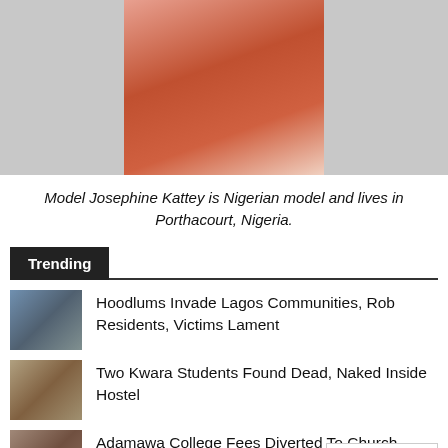[Figure (photo): Partial photo of model Josephine Kattey, cropped at top showing torso in red outfit]
Model Josephine Kattey is Nigerian model and lives in Porthacourt, Nigeria.
Trending
Hoodlums Invade Lagos Communities, Rob Residents, Victims Lament
Two Kwara Students Found Dead, Naked Inside Hostel
Adamawa College Fees Diverted To Church Account, MURIC Calls For Probe